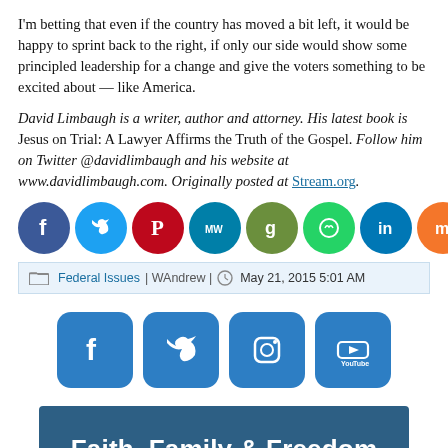I'm betting that even if the country has moved a bit left, it would be happy to sprint back to the right, if only our side would show some principled leadership for a change and give the voters something to be excited about — like America.
David Limbaugh is a writer, author and attorney. His latest book is Jesus on Trial: A Lawyer Affirms the Truth of the Gospel. Follow him on Twitter @davidlimbaugh and his website at www.davidlimbaugh.com. Originally posted at Stream.org.
[Figure (infographic): Row of 10 circular social media share buttons: Facebook (dark blue), Twitter (light blue), Pinterest (red), MeWe (teal), Goodreads (brown/orange), WhatsApp (green), LinkedIn (blue), Mix (orange), Parler (red-orange), Share (orange)]
Federal Issues | WAndrew | May 21, 2015 5:01 AM
[Figure (infographic): Four square social media buttons: Facebook (blue), Twitter (blue), Instagram (blue), YouTube (blue)]
[Figure (infographic): Dark blue banner with text: Faith, Family & Freedom]